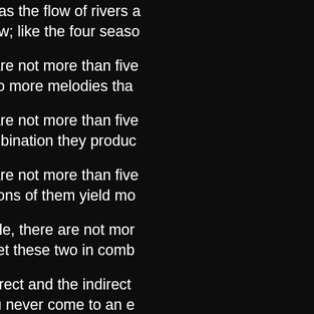unending as the flow of rivers and streams; begin anew; like the four seasons
7. There are not more than five musical notes, yet in combination they give rise to more melodies tha[n]
8. There are not more than five primary colors, yet in combination they produc[e]
9. There are not more than five cardinal tastes, yet combinations of them yield mo[re]
10. In battle, there are not mor[e than two methods of attack--the] indirect; yet these two in comb[ination]
11. The direct and the indirect lead on to each other in turn. It is like moving in a circle--you never come to an e[nd]. Who can exhaust the possibilities of their combination?
12. The onset of troops is like t[he rush of a torrent]